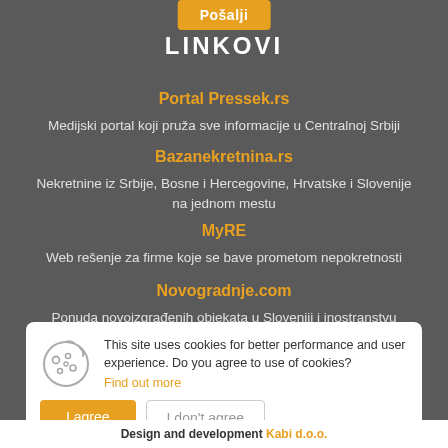LINKOVI
Portal Pressek.rs
Medijski portal koji pruža sve informacije u Centralnoj Srbiji
Bazanekretnina.rs
Nekretnine iz Srbije, Bosne i Hercegovine, Hrvatske i Slovenije na jednom mestu
MyRE
Web rešenje za firme koje se bave prometom nepokretnosti
Novogradnje.com
Ponuda novoizgrađenih objekata u Sloveniji i inostranstvu
This site uses cookies for better performance and user experience. Do you agree to use of cookies? Find out more
Design and development Kabi d.o.o.